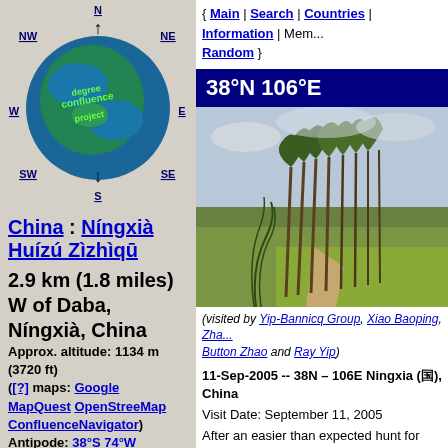[Figure (illustration): Degree Confluence Project globe logo with compass directions (N, NW, NE, W, E, SW, S, SE) and directional arrows]
China : Níngxià Huízú Zìzhìqū
2.9 km (1.8 miles) W of Daba, Níngxià, China
Approx. altitude: 1134 m (3720 ft)
([?] maps: Google MapQuest OpenStreeMap ConfluenceNavigator)
Antipode: 38°S 74°W
Accuracy: 6 m (19 ft)
{ Main | Search | Countries | Information | Mem... Random }
38°N 106°E
[Figure (photo): Dirt road through flat farmland with tall thin trees (poplars) bending in wind, green fields, cloudy sky]
(visited by Yip-Bannicq Group, Xiao Baoping, Zha... Button Zhao and Ray Yip)
11-Sep-2005 -- 38N – 106E Ningxia (国), China
Visit Date: September 11, 2005
After an easier than expected hunt for 38N 107E...